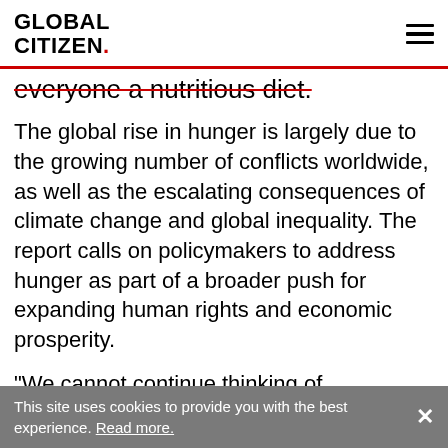GLOBAL CITIZEN.
everyone a nutritious diet.
The global rise in hunger is largely due to the growing number of conflicts worldwide, as well as the escalating consequences of climate change and global inequality. The report calls on policymakers to address hunger as part of a broader push for expanding human rights and economic prosperity.
“We cannot continue thinking of agriculture, the environment, health, poverty, and hunger in isolation,” Gilbert F. Houngbo, president of the International Fund for Agricultural
This site uses cookies to provide you with the best experience. Read more.